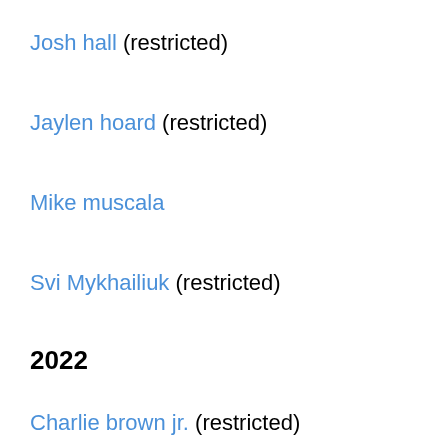Josh hall (restricted)
Jaylen hoard (restricted)
Mike muscala
Svi Mykhailiuk (restricted)
2022
Charlie brown jr. (restricted)